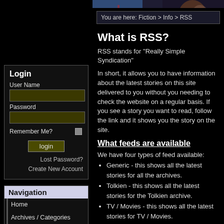[Figure (photo): Hero banner image showing a person partially visible, with dark background and colored lighting]
You are here: Fiction > Info > RSS
What is RSS?
RSS stands for "Really Simple Syndication"
In short, it allows you to have information about the latest stories on this site delivered to you without you needing to check the website on a regular basis. If you see a story you want to read, follow the link and it shows you the story on the site.
What feeds are available
We have four types of feed available:
Generic - this shows all the latest stories for all the archives.
Tolkien - this shows all the latest stories for the Tolkien archive.
TV / Movies - this shows all the latest stories for TV / Movies.
Login
User Name
Password
Remember Me?
login
Lost Password?
Create New Account
Navigation
Home
Archives / Categories
List Stories
Search Archives
Post New Story